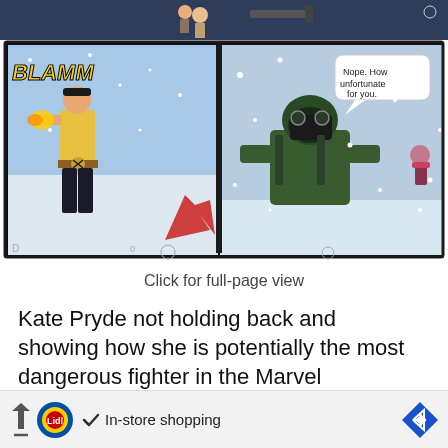[Figure (illustration): Comic book panels showing superheroes in action. Top strip shows characters with weapons. Main panel shows a character firing a gun with 'BLAMM' sound effect on left, and a masked figure in tactical gear in snowy environment on right with speech bubble reading 'Nope. How unfortunate for you.']
Click for full-page view
Kate Pryde not holding back and showing how she is potentially the most dangerous fighter in the Marvel Universe when using her powers in combination with the combat training she received from Wolverine
[Figure (infographic): Advertisement bar showing Lidl logo, checkmark, 'In-store shopping' text, and navigation arrow]